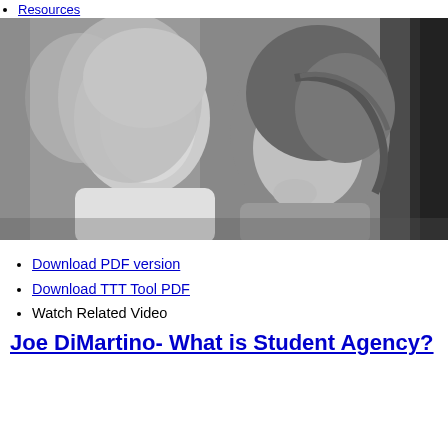Resources
[Figure (photo): Black and white photograph of two young women, one with long blonde hair looking to the side, the other with braided dark hair looking downward, in a classroom or group setting.]
Download PDF version
Download TTT Tool PDF
Watch Related Video
Joe DiMartino- What is Student Agency?